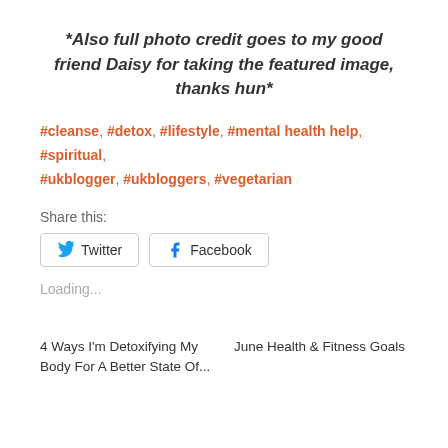*Also full photo credit goes to my good friend Daisy for taking the featured image, thanks hun*
#cleanse, #detox, #lifestyle, #mental health help, #spiritual, #ukblogger, #ukbloggers, #vegetarian
Share this:
Twitter
Facebook
Loading...
4 Ways I'm Detoxifying My Body For A Better State Of...
June Health & Fitness Goals